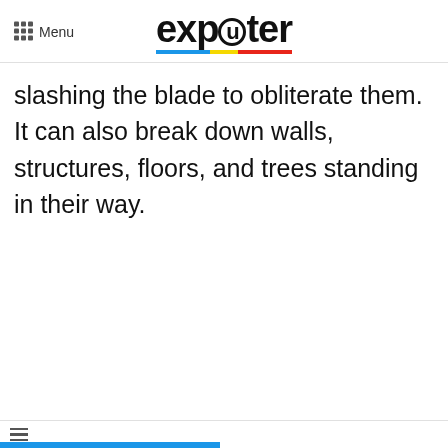Menu | exputer
slashing the blade to obliterate them. It can also break down walls, structures, floors, and trees standing in their way.